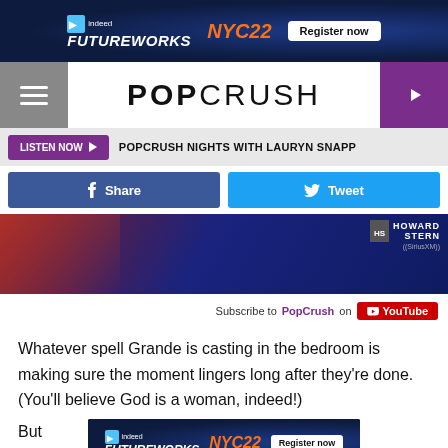[Figure (screenshot): Indeed FutureWorks NYC22 advertisement banner with Register now button]
POPCRUSH
LISTEN NOW  POPCRUSH NIGHTS WITH LAURYN SNAPP
Share  Tweet
[Figure (photo): Dark photo with red and blue colors, Howard Stern SiriusXM watermark in upper right]
Subscribe to PopCrush on YouTube
Whatever spell Grande is casting in the bedroom is making sure the moment lingers long after they're done. (You'll believe God is a woman, indeed!)
But do
[Figure (screenshot): Indeed FutureWorks NYC22 advertisement banner with Register now button overlapping bottom of page]